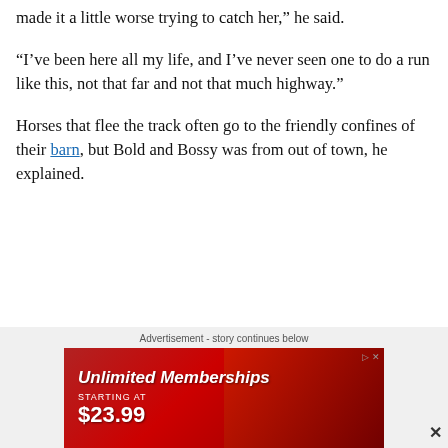made it a little worse trying to catch her,” he said.
“I’ve been here all my life, and I’ve never seen one to do a run like this, not that far and not that much highway.”
Horses that flee the track often go to the friendly confines of their barn, but Bold and Bossy was from out of town, he explained.
Advertisement - story continues below
[Figure (other): Advertisement banner: Unlimited Memberships Starting At $23.99, showing car wash brushes in red]